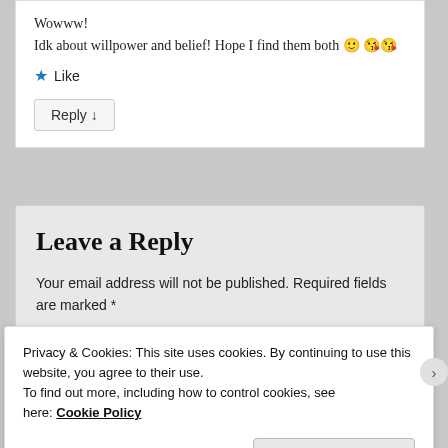Wowww!
Idk about willpower and belief! Hope I find them both 🙂 😘😘
★ Like
Reply ↓
Leave a Reply
Your email address will not be published. Required fields are marked *
Privacy & Cookies: This site uses cookies. By continuing to use this website, you agree to their use.
To find out more, including how to control cookies, see here: Cookie Policy
Close and accept